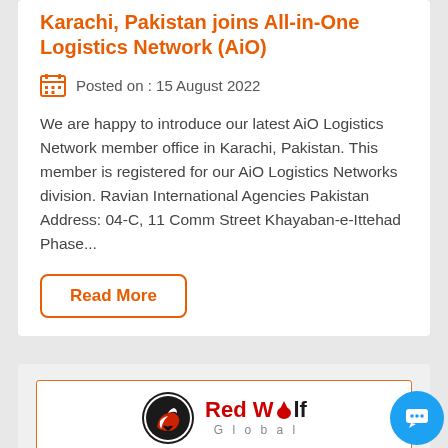Karachi, Pakistan joins All-in-One Logistics Network (AiO)
Posted on : 15 August 2022
We are happy to introduce our latest AiO Logistics Network member office in Karachi, Pakistan. This member is registered for our AiO Logistics Networks division. Ravian International Agencies Pakistan Address: 04-C, 11 Comm Street Khayaban-e-Ittehad Phase...
Read More
[Figure (logo): Red Wolf Global logo: a stylized wolf head in a circle on the left, and the text 'Red Wolf Global' on the right in red and black with 'Global' in grey spaced letters below]